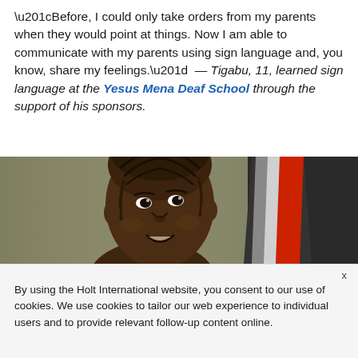“Before, I could only take orders from my parents when they would point at things. Now I am able to communicate with my parents using sign language and, you know, share my feelings.” — Tigabu, 11, learned sign language at the Yesus Mena Deaf School through the support of his sponsors.
[Figure (photo): Photo of a smiling young boy with braided hair against an olive/beige background, with part of another person in a dark jacket with red and white collar visible on the right]
By using the Holt International website, you consent to our use of cookies. We use cookies to tailor our web experience to individual users and to provide relevant follow-up content online.